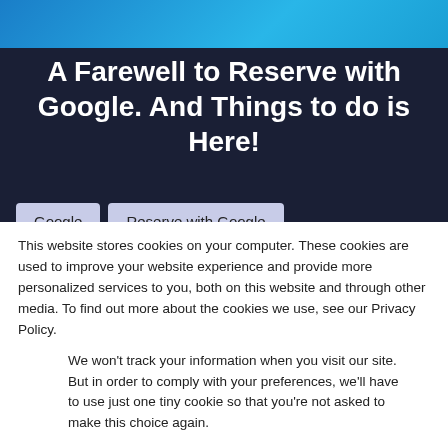[Figure (screenshot): Dark navy banner with blue gradient at top, containing the title 'A Farewell to Reserve with Google. And Things to do is Here!' in white bold text, with two tab buttons at the bottom labeled 'Google' and 'Reserve with Google']
This website stores cookies on your computer. These cookies are used to improve your website experience and provide more personalized services to you, both on this website and through other media. To find out more about the cookies we use, see our Privacy Policy.
We won't track your information when you visit our site. But in order to comply with your preferences, we'll have to use just one tiny cookie so that you're not asked to make this choice again.
Accept | Decline